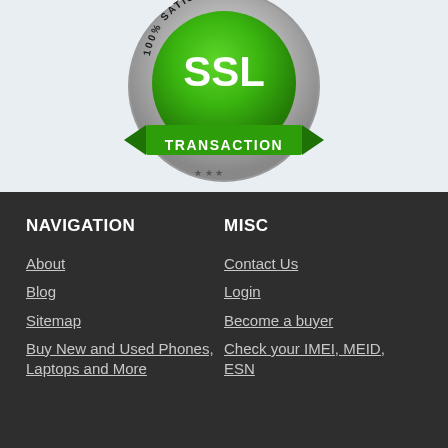[Figure (logo): SSL Transaction badge - green and silver circular seal with '100% SATISFACTION' around the top, 'SSL' in large white text in the center green circle, and 'TRANSACTION' on a green ribbon banner below]
NAVIGATION
MISC
About
Contact Us
Blog
Login
Sitemap
Become a buyer
Buy New and Used Phones, Laptops and More
Check your IMEI, MEID, ESN